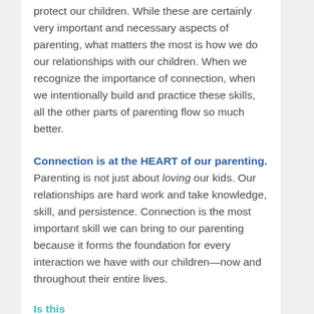protect our children. While these are certainly very important and necessary aspects of parenting, what matters the most is how we do our relationships with our children. When we recognize the importance of connection, when we intentionally build and practice these skills, all the other parts of parenting flow so much better.
Connection is at the HEART of our parenting. Parenting is not just about loving our kids. Our relationships are hard work and take knowledge, skill, and persistence. Connection is the most important skill we can bring to our parenting because it forms the foundation for every interaction we have with our children—now and throughout their entire lives.
Is this